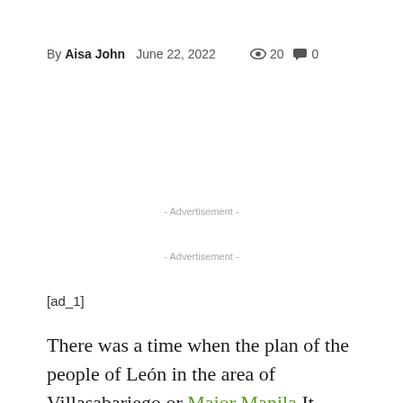By Aisa John  June 22, 2022   20  0
- Advertisement -
- Advertisement -
[ad_1]
There was a time when the plan of the people of León in the area of Villasabariego or Major Manila It consisted of looting the forgotten Roman site of Lancia. No one